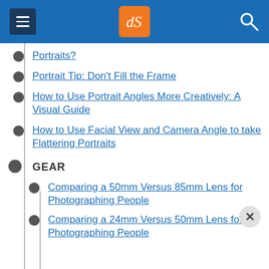dPS navigation menu header
Portraits?
Portrait Tip: Don't Fill the Frame
How to Use Portrait Angles More Creatively: A Visual Guide
How to Use Facial View and Camera Angle to take Flattering Portraits
GEAR
Comparing a 50mm Versus 85mm Lens for Photographing People
Comparing a 24mm Versus 50mm Lens for Photographing People